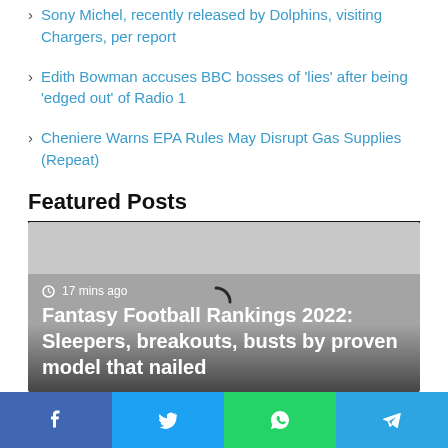Sony Michel, recently released by Dolphins, visiting Chargers, per report
Edith Bowman accuses BBC bosses of 'lies' after being 'edged out' of Radio 1
Cheniere Warns EPA Rules May Disrupt Gas Supplies (Repeat)
Featured Posts
[Figure (photo): Loading spinner over gray gradient background, featuring a featured post card with timestamp '17 mins ago' and title 'Fantasy Football Rankings 2022: Sleepers, breakouts, busts by proven model that nailed']
Facebook | Twitter | WhatsApp | Telegram social share buttons